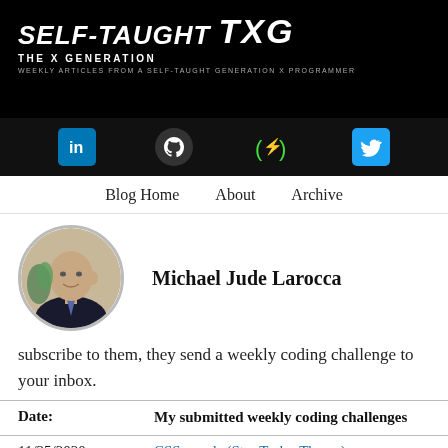SELF-TAUGHT TXG THE X GENERATION WEEKLY ARTICLES FROM A SELF-TAUGHT GENERATION X PROGRAMMER
[Figure (logo): Self-Taught TXG logo with social media icons: LinkedIn, GitHub, freeCodeCamp, Twitter]
Blog Home  About  Archive
[Figure (photo): Circular profile photo of Michael Jude Larocca, a bald man in a dark suit with a tie]
Michael Jude Larocca
subscribe to them, they send a weekly coding challenge to your inbox.
| Date: | My submitted weekly coding challenges |
| --- | --- |
| 11/25/2020 | CSS panels (Star Trek - Theme) |